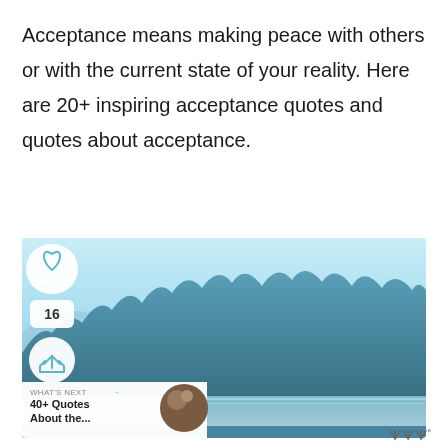Acceptance means making peace with others or with the current state of your reality. Here are 20+ inspiring acceptance quotes and quotes about acceptance.
[Figure (screenshot): A scenic landscape photo showing a misty blue lake or bay with mountains and dense tree-covered hills in the background under a light blue sky. Social media UI overlays include a heart icon button, a share count of 16, a share button, and a 'What's Next' panel showing '40+ Quotes About the...' with a circular thumbnail. A blue bar appears at the bottom of the image.]